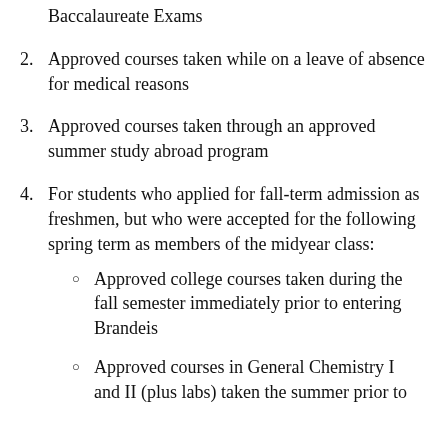Baccalaureate Exams
2. Approved courses taken while on a leave of absence for medical reasons
3. Approved courses taken through an approved summer study abroad program
4. For students who applied for fall-term admission as freshmen, but who were accepted for the following spring term as members of the midyear class:
Approved college courses taken during the fall semester immediately prior to entering Brandeis
Approved courses in General Chemistry I and II (plus labs) taken the summer prior to